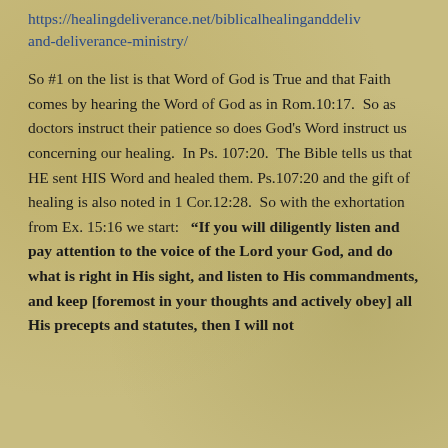https://healingdeliverance.net/biblicalhealinganddeliverance-and-deliverance-ministry/
So #1 on the list is that Word of God is True and that Faith comes by hearing the Word of God as in Rom.10:17.  So as doctors instruct their patience so does God's Word instruct us concerning our healing.  In Ps. 107:20.  The Bible tells us that HE sent HIS Word and healed them. Ps.107:20 and the gift of healing is also noted in 1 Cor.12:28.  So with the exhortation from Ex. 15:16 we start:   “If you will diligently listen and pay attention to the voice of the Lord your God, and do what is right in His sight, and listen to His commandments, and keep [foremost in your thoughts and actively obey] all His precepts and statutes, then I will not